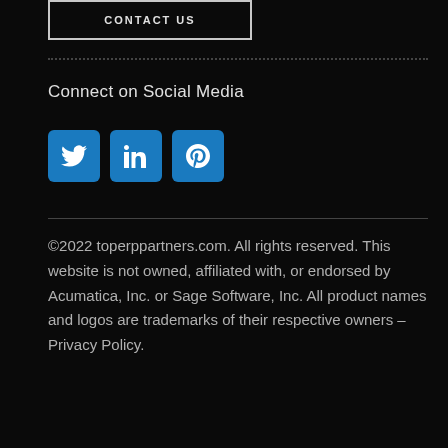[Figure (other): CONTACT US button with white border on dark background]
Connect on Social Media
[Figure (other): Three social media icons: Twitter (bird), LinkedIn (in), Pinterest (P) in blue rounded square buttons]
©2022 toperppartners.com. All rights reserved. This website is not owned, affiliated with, or endorsed by Acumatica, Inc. or Sage Software, Inc. All product names and logos are trademarks of their respective owners – Privacy Policy.